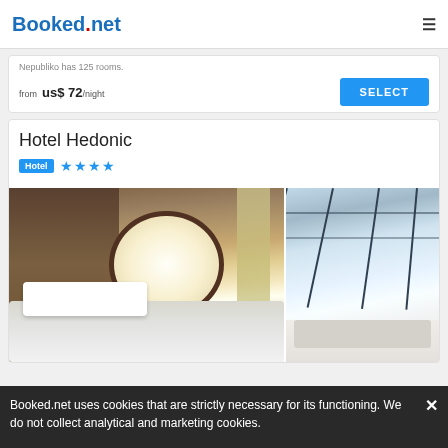Booked.net
Nepubliko has 125 rooms.
from us$ 72/night
SELECT
Hotel Hedonic
Hotel ★★★★
[Figure (photo): Two hotel room photos side by side: left shows a bedroom with white pillows and an oval porthole window; right shows a glass-ceiling lounge area.]
Booked.net uses cookies that are strictly necessary for its functioning. We do not collect analytical and marketing cookies.
75 reviews